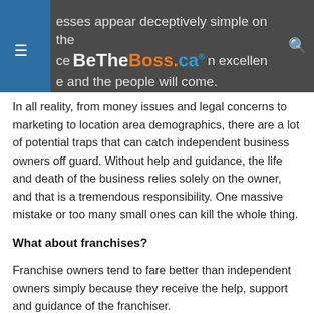esses appear deceptively simple on the [surface] BeTheBoss.ca [in] excellen[t location] e and the people will come.
In all reality, from money issues and legal concerns to marketing to location area demographics, there are a lot of potential traps that can catch independent business owners off guard. Without help and guidance, the life and death of the business relies solely on the owner, and that is a tremendous responsibility. One massive mistake or too many small ones can kill the whole thing.
What about franchises?
Franchise owners tend to fare better than independent owners simply because they receive the help, support and guidance of the franchiser.